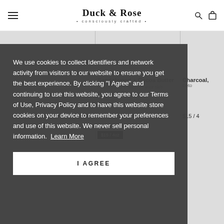Duck & Rose · consciously crafted
Sandalwood + Cocoa Butter
Restore and moisturize your skin
Soap- CBD 50mg
Charcoal,
Deto
$15 / 4
We use cookies to collect Identifiers and network activity from visitors to our website to ensure you get the best experience. By clicking "I Agree" and continuing to use this website, you agree to our Terms of Use, Privacy Policy and to have this website store cookies on your device to remember your preferences and use of this website. We never sell personal information. Learn More
I AGREE